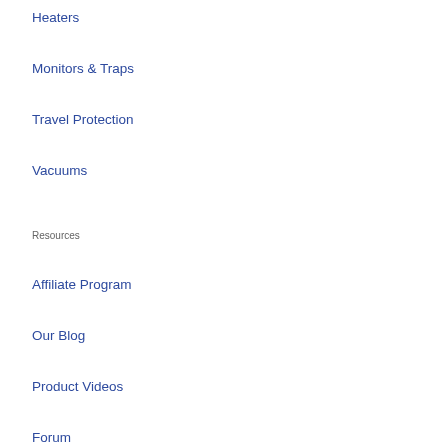Heaters
Monitors & Traps
Travel Protection
Vacuums
Resources
Affiliate Program
Our Blog
Product Videos
Forum
How to Prevent Bed Bugs